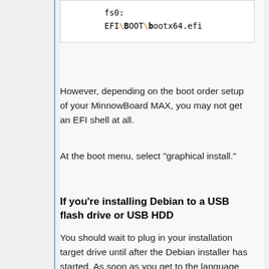[Figure (screenshot): Code block showing: fs0:
EFI\BOOT\bootx64.efi with BOOT and b highlighted in orange/bold]
However, depending on the boot order setup of your MinnowBoard MAX, you may not get an EFI shell at all.
At the boot menu, select "graphical install."
If you're installing Debian to a USB flash drive or USB HDD
You should wait to plug in your installation target drive until after the Debian installer has started. As soon as you get to the language selection screen, then you can plug your target drive in.
If you're installing Debian to a